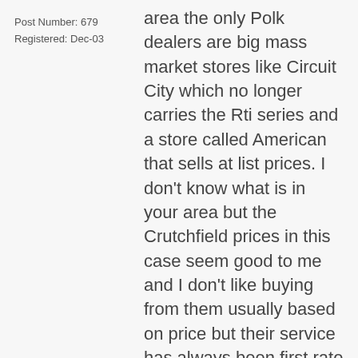Post Number: 679
Registered: Dec-03
area the only Polk dealers are big mass market stores like Circuit City which no longer carries the Rti series and a store called American that sells at list prices. I don't know what is in your area but the Crutchfield prices in this case seem good to me and I don't like buying from them usually based on price but their service has always been first rate and you can return the Polk's in thirty days if you don't like them. As to the Power Saver I don't have any experience with it so can't give a definate answer but in general I have